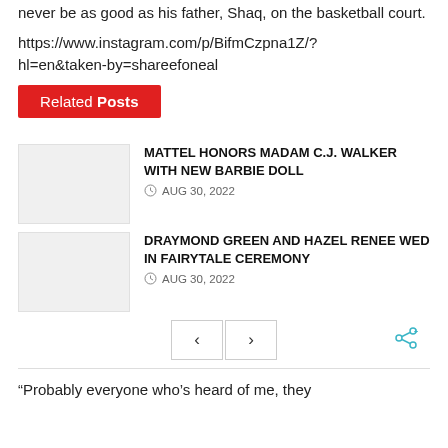never be as good as his father, Shaq, on the basketball court.
https://www.instagram.com/p/BifmCzpna1Z/?hl=en&taken-by=shareefoneal
Related Posts
[Figure (photo): Thumbnail placeholder image for Mattel Honors Madam C.J. Walker post]
MATTEL HONORS MADAM C.J. WALKER WITH NEW BARBIE DOLL
AUG 30, 2022
[Figure (photo): Thumbnail placeholder image for Draymond Green post]
DRAYMOND GREEN AND HAZEL RENEE WED IN FAIRYTALE CEREMONY
AUG 30, 2022
“Probably everyone who’s heard of me, they